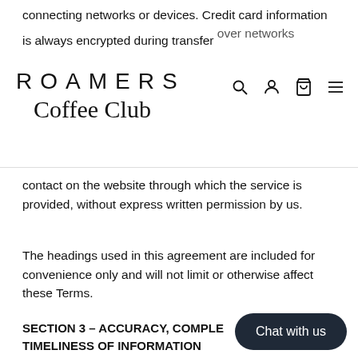connecting networks or devices. Credit card information is always encrypted during transfer over networks
[Figure (logo): Roamers Coffee Club logo with navigation icons (search, account, cart, menu)]
contact on the website through which the service is provided, without express written permission by us.
The headings used in this agreement are included for convenience only and will not limit or otherwise affect these Terms.
SECTION 3 – ACCURACY, COMPLETENESS AND TIMELINESS OF INFORMATION